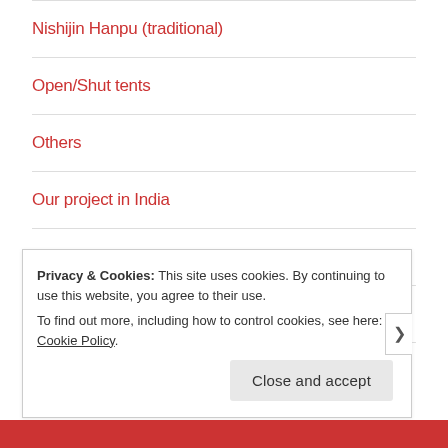Nishijin Hanpu (traditional)
Open/Shut tents
Others
Our project in India
Our works
Outdoor goods
Outside Japan
Privacy & Cookies: This site uses cookies. By continuing to use this website, you agree to their use.
To find out more, including how to control cookies, see here: Cookie Policy
Close and accept